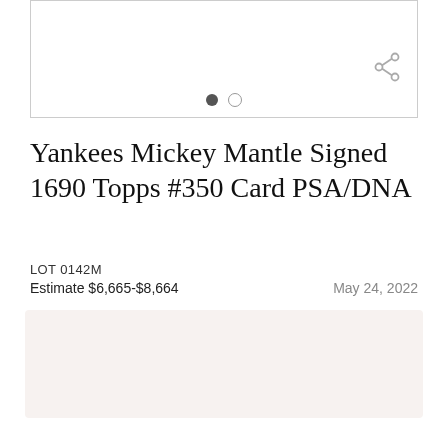[Figure (photo): Image carousel area showing product image with navigation dots and share icon]
Yankees Mickey Mantle Signed 1690 Topps #350 Card PSA/DNA
LOT 0142M
Estimate $6,665-$8,664
May 24, 2022
See Sold Price
SELL A SIMILAR ITEM